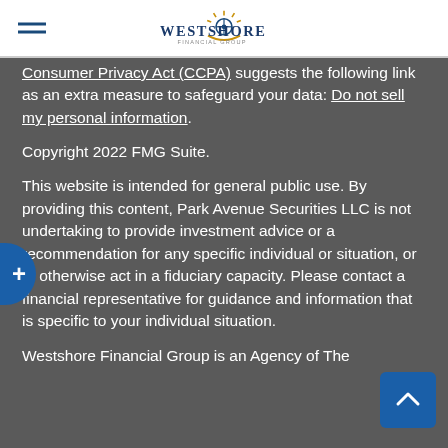Westshore Financial Group
Consumer Privacy Act (CCPA) suggests the following link as an extra measure to safeguard your data: Do not sell my personal information.
Copyright 2022 FMG Suite.
This website is intended for general public use. By providing this content, Park Avenue Securities LLC is not undertaking to provide investment advice or a recommendation for any specific individual or situation, or to otherwise act in a fiduciary capacity. Please contact a financial representative for guidance and information that is specific to your individual situation.
Westshore Financial Group is an Agency of The